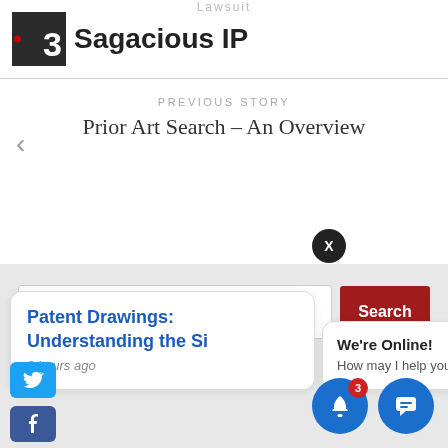[Figure (logo): Sagacious IP logo with dark square containing numeral 3 and red dot]
PREVIOUS STORY
Prior Art Search – An Overview
[Figure (screenshot): Search bar with placeholder text 'Search ...' and red Search button]
Patent Drawings: Understanding the Si
8 hours ago
We're Online!
How may I help you today?